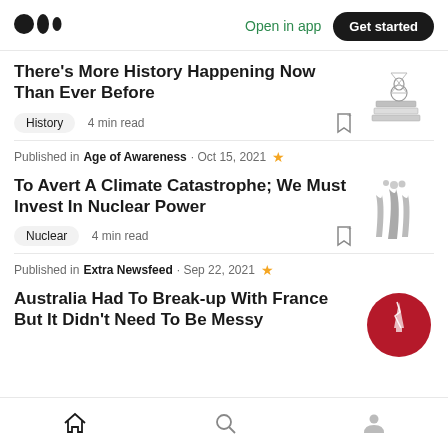Medium logo | Open in app | Get started
There's More History Happening Now Than Ever Before
History · 4 min read
Published in Age of Awareness · Oct 15, 2021
To Avert A Climate Catastrophe; We Must Invest In Nuclear Power
Nuclear · 4 min read
Published in Extra Newsfeed · Sep 22, 2021
Australia Had To Break-up With France But It Didn't Need To Be Messy